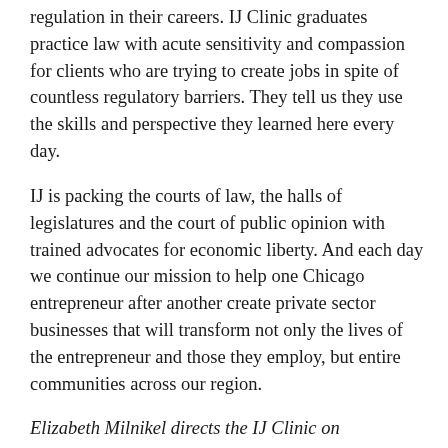regulation in their careers.  IJ Clinic graduates practice law with acute sensitivity and compassion for clients who are trying to create jobs in spite of countless regulatory barriers.  They tell us they use the skills and perspective they learned here every day.
IJ is packing the courts of law, the halls of legislatures and the court of public opinion with trained advocates for economic liberty.  And each day we continue our mission to help one Chicago entrepreneur after another create private sector businesses that will transform not only the lives of the entrepreneur and those they employ, but entire communities across our region.
Elizabeth Milnikel directs the IJ Clinic on Entrepreneurship.